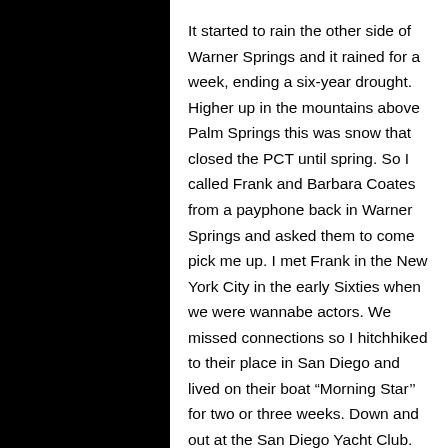It started to rain the other side of Warner Springs and it rained for a week, ending a six-year drought. Higher up in the mountains above Palm Springs this was snow that closed the PCT until spring. So I called Frank and Barbara Coates from a payphone back in Warner Springs and asked them to come pick me up. I met Frank in the New York City in the early Sixties when we were wannabe actors. We missed connections so I hitchhiked to their place in San Diego and lived on their boat “Morning Star” for two or three weeks. Down and out at the San Diego Yacht Club.
One day they said they might like to take their boat out now and then, how would I feel about that? At their house I met Tom from Texas and he told how when he came to town